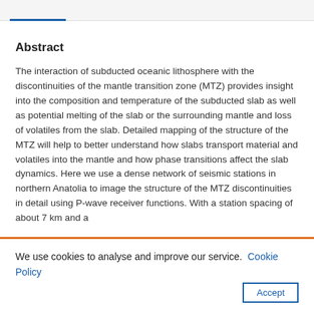Abstract
The interaction of subducted oceanic lithosphere with the discontinuities of the mantle transition zone (MTZ) provides insight into the composition and temperature of the subducted slab as well as potential melting of the slab or the surrounding mantle and loss of volatiles from the slab. Detailed mapping of the structure of the MTZ will help to better understand how slabs transport material and volatiles into the mantle and how phase transitions affect the slab dynamics. Here we use a dense network of seismic stations in northern Anatolia to image the structure of the MTZ discontinuities in detail using P-wave receiver functions. With a station spacing of about 7 km and a
We use cookies to analyse and improve our service.  Cookie Policy